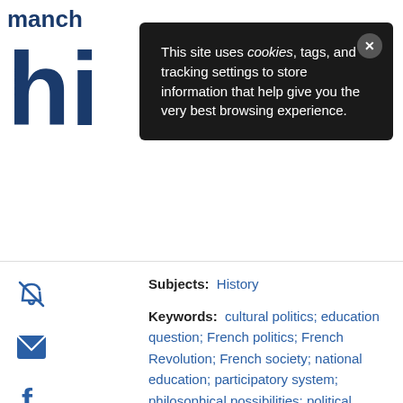[Figure (screenshot): Cookie consent popup overlay on Manchester University Press website, dark background with text: This site uses cookies, tags, and tracking settings to store information that help give you the very best browsing experience. Close button (X) in top right.]
Subjects: History
Keywords: cultural politics; education question; French politics; French Revolution; French society; national education; participatory system; philosophical possibilities; political institutions; public instruction; representative government; republican pedagogy; social order; social realities
Page Count: 271
Publisher: Manchester University